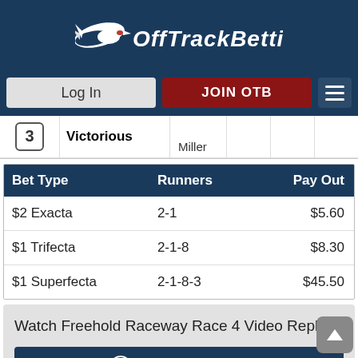[Figure (logo): OffTrackBetting logo with racing horse silhouette and text]
|  |  |  |
| --- | --- | --- |
| 3 | Victorious | Miller |  |  |
| Bet Type | Runners | Pay Out |
| --- | --- | --- |
| $2 Exacta | 2-1 | $5.60 |
| $1 Trifecta | 2-1-8 | $8.30 |
| $1 Superfecta | 2-1-8-3 | $45.50 |
Watch Freehold Raceway Race 4 Video Replay